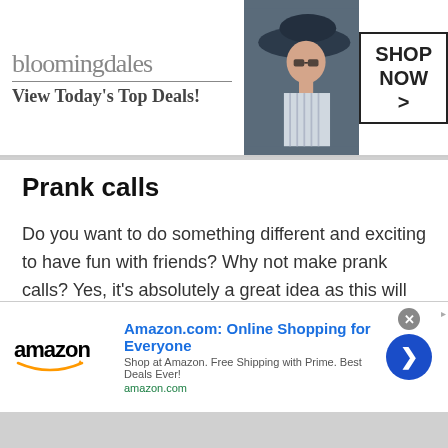[Figure (illustration): Bloomingdale's advertisement banner with logo, 'View Today's Top Deals!' tagline, photo of woman in hat, and 'SHOP NOW >' button]
Prank calls
Do you want to do something different and exciting to have fun with friends? Why not make prank calls? Yes, it's absolutely a great idea as this will help you enjoy things in a better way. TWS is considered as best for making free prank calls. It is indeed a trusted and reputed online chatting platform that offers unlimited prank calls.
[Figure (illustration): Amazon advertisement banner with logo, 'Amazon.com: Online Shopping for Everyone' headline, 'Shop at Amazon. Free Shipping with Prime. Best Deals Ever!' subtext, amazon.com URL, and blue arrow button]